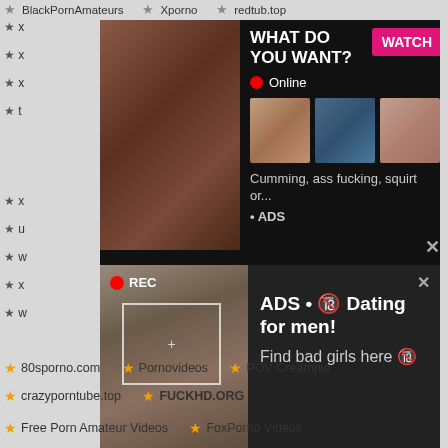BlackPornAmateurs   Xporno   redtub.top
[Figure (screenshot): Adult advertisement overlay 1 with black background showing 'WHAT DO YOU WANT?' text, pink WATCH button, Online indicator, thumbnail images, and text 'Cumming, ass fucking, squirt or...' • ADS]
[Figure (screenshot): Adult advertisement overlay 2 with dark background, REC indicator, camera frame UI, and text 'ADS • 🔞 Dating for men! Find bad girls here 🔞']
80sporno.com   Pornovideos   POV Creampie
crazyporntube.top   FUCKHD.ORG
Free Porn Amateur Videos   FoxPorno Videos